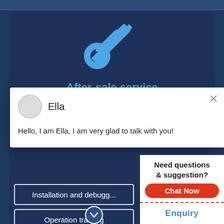[Figure (illustration): Crossed wrench and screwdriver tools icon in blue color]
After-sale service
[Figure (screenshot): Chat popup with avatar, name Ella, and message: Hello, I am Ella, I am very glad to talk with you!]
Installation and debugg...
Operation training
Regular visit
[Figure (photo): Customer service agent - woman wearing headset, smiling]
Need questions & suggestion?
Chat Now
Enquiry